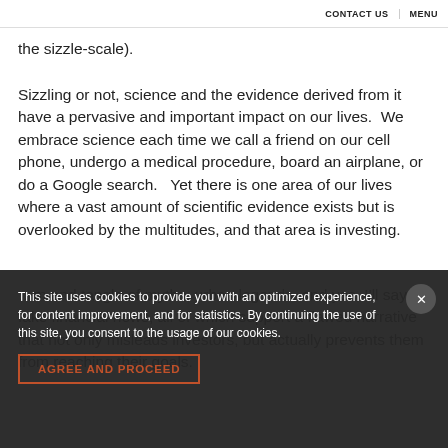CONTACT US  MENU
the sizzle-scale).
Sizzling or not, science and the evidence derived from it have a pervasive and important impact on our lives.  We embrace science each time we call a friend on our cell phone, undergo a medical procedure, board an airplane, or do a Google search.   Yet there is one area of our lives where a vast amount of scientific evidence exists but is overlooked by the multitudes, and that area is investing.
This site uses cookies to provide you with an optimized experience, for content improvement, and for statistics. By continuing the use of this site, you consent to the usage of our cookies.
AGREE AND PROCEED